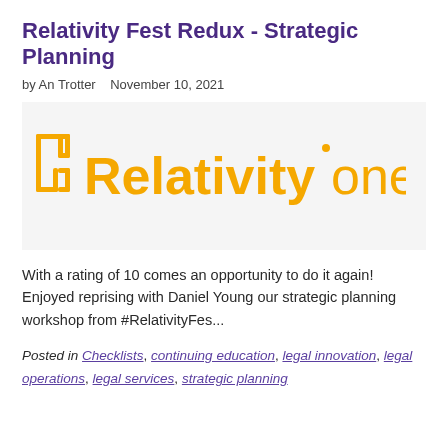Relativity Fest Redux - Strategic Planning
by An Trotter   November 10, 2021
[Figure (logo): RelativityOne logo in orange with a grid-like icon on the left and the text 'Relativity one' in orange on a light grey background]
With a rating of 10 comes an opportunity to do it again! Enjoyed reprising with Daniel Young our strategic planning workshop from #RelativityFes...
Posted in Checklists, continuing education, legal innovation, legal operations, legal services, strategic planning